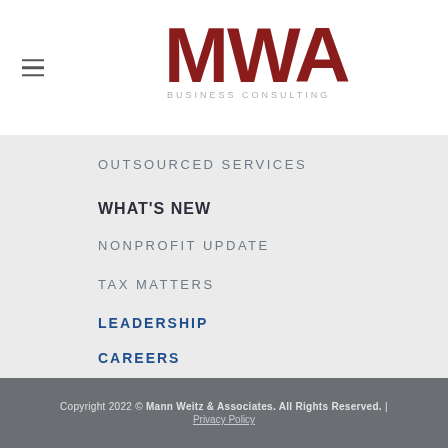[Figure (logo): MWA Business Consulting logo with large red bold letters MWA and subtitle BUSINESS CONSULTING in gray]
OUTSOURCED SERVICES
WHAT'S NEW
NONPROFIT UPDATE
TAX MATTERS
LEADERSHIP
CAREERS
Copyright 2022 © Mann Weitz & Associates. All Rights Reserved. | Privacy Policy